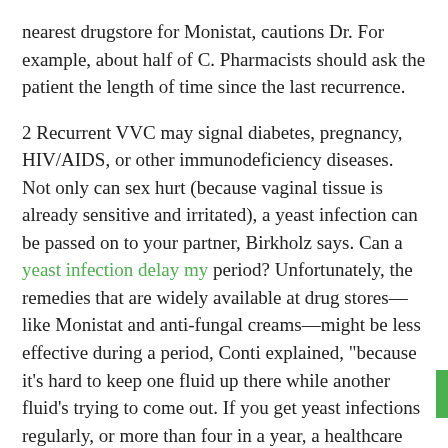nearest drugstore for Monistat, cautions Dr. For example, about half of C. Pharmacists should ask the patient the length of time since the last recurrence.
2 Recurrent VVC may signal diabetes, pregnancy, HIV/AIDS, or other immunodeficiency diseases. Not only can sex hurt (because vaginal tissue is already sensitive and irritated), a yeast infection can be passed on to your partner, Birkholz says. Can a yeast infection delay my period? Unfortunately, the remedies that are widely available at drug stores—like Monistat and anti-fungal creams—might be less effective during a period, Conti explained, "because it's hard to keep one fluid up there while another fluid's trying to come out. If you get yeast infections regularly, or more than four in a year, a healthcare provider can also help identify what's causing these frequent infections and help you find relief. Do not take this medicine by mouth. Do not have vaginal intercourse or use other vaginal products (such as